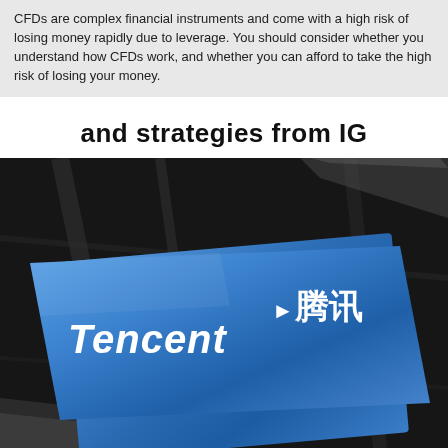CFDs are complex financial instruments and come with a high risk of losing money rapidly due to leverage. You should consider whether you understand how CFDs work, and whether you can afford to take the high risk of losing your money.
and strategies from IG
[Figure (photo): Close-up photograph of a Tencent logo badge/card. The card is blue with white text reading 'Tencent 腾讯', placed on a dark black fabric background.]